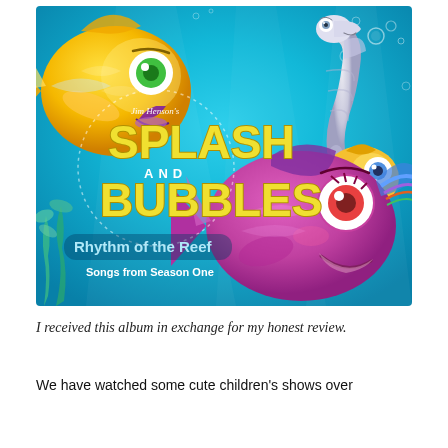[Figure (illustration): Album cover for Jim Henson's Splash and Bubbles: Rhythm of the Reef, Songs from Season One. Features animated underwater fish characters on a blue background including a large gold fish top-left, a white seahorse top-right, a small gold fish right-center, and a large pink fish center-right. The title 'SPLASH AND BUBBLES' appears in large yellow letters with 'Rhythm of the Reef' in light blue below, and 'Songs from Season One' in white.]
I received this album in exchange for my honest review.
We have watched some cute children's shows over